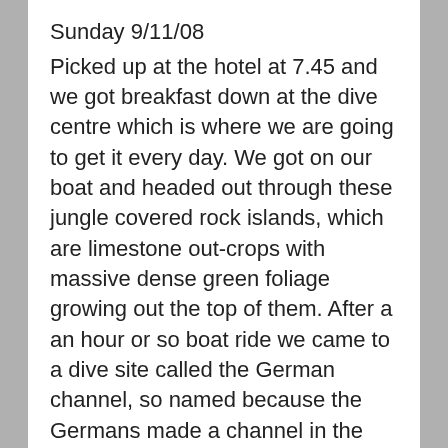Sunday 9/11/08
Picked up at the hotel at 7.45 and we got breakfast down at the dive centre which is where we are going to get it every day. We got on our boat and headed out through these jungle covered rock islands, which are limestone out-crops with massive dense green foliage growing out the top of them. After a an hour or so boat ride we came to a dive site called the German channel, so named because the Germans made a channel in the seabed for a short cut between routes. The portents looked promising when we